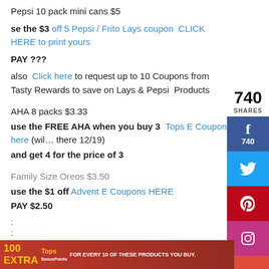Pepsi 10 pack mini cans $5
se the $3  off 5 Pepsi / Frito Lays coupon  CLICK HERE to print yours
PAY ???
also  Click here to request up to 10 Coupons from Tasty Rewards to save on Lays & Pepsi  Products
AHA 8 packs $3.33
use the FREE AHA when you buy 3  Tops E Coupon here (will be there 12/19)
and get 4 for the price of 3
Family Size Oreos $3.50
use the $1 off Advent E Coupons HERE
PAY $2.50
;
;
[Figure (infographic): Social share sidebar showing 740 shares with Facebook (740), Twitter, Pinterest, Instagram, Google+ buttons]
[Figure (infographic): Bottom banner: 100 EXTRA Tops BonusPoints FOR EVERY 10 OF THESE PRODUCTS YOU BUY and a coupon image on the right]